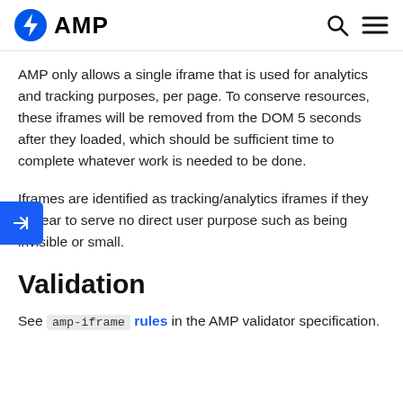AMP
AMP only allows a single iframe that is used for analytics and tracking purposes, per page. To conserve resources, these iframes will be removed from the DOM 5 seconds after they loaded, which should be sufficient time to complete whatever work is needed to be done.
Iframes are identified as tracking/analytics iframes if they appear to serve no direct user purpose such as being invisible or small.
Validation
See amp-iframe rules in the AMP validator specification.